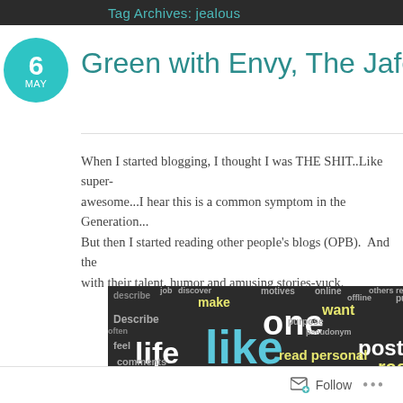Tag Archives: jealous
Green with Envy, The Jafees
When I started blogging, I thought I was THE SHIT..Like super-awesome...I hear this is a common symptom in the Generation... But then I started reading other people's blogs (OPB). And the with their talent, humor and amusing stories-yuck.
[Figure (infographic): Word cloud on dark background with words like 'like', 'one', 'life', 'know', 'get', 'feel', 'identity', 'just', 'present', 'really', 'posts', 'time', 'want', 'make', 'comments', 'personal', 'describe', 'affect' in various colors including white, yellow, and teal.]
Follow ...